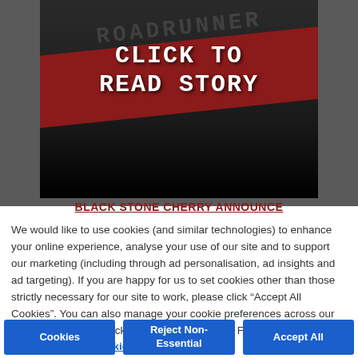[Figure (screenshot): Dark background image with a diagonal dark red banner stripe containing the text 'CLICK TO READ STORY' in white monospace font. Faint text 'ROADRUNNER RECORDS' visible in background.]
BLACK STONE CHERRY ANNOUNCE
We would like to use cookies (and similar technologies) to enhance your online experience, analyse your use of our site and to support our marketing (including through ad personalisation, ad insights and ad targeting). If you are happy for us to set cookies other than those strictly necessary for our site to work, please click “Accept All Cookies”. You can also manage your cookie preferences across our site now or later by clicking “Cookies Settings”. For more information, please read our  Cookies Policy
Cookies
Reject Non-Essential
Accept All